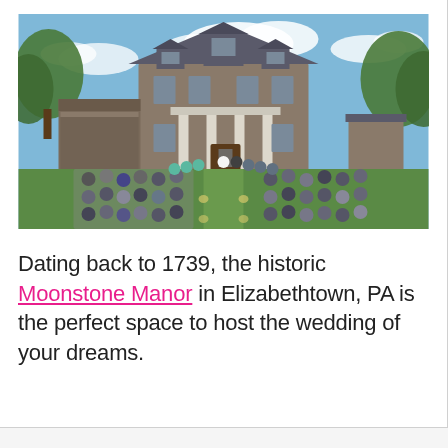[Figure (photo): Outdoor wedding ceremony at Moonstone Manor, a historic stone colonial manor house in Elizabethtown, PA, dating to 1739. Guests are seated on white chairs on a lawn facing the stone building with tall white columns. The bridal party is visible near the entrance. Trees and blue sky with clouds in the background.]
Dating back to 1739, the historic Moonstone Manor in Elizabethtown, PA is the perfect space to host the wedding of your dreams.